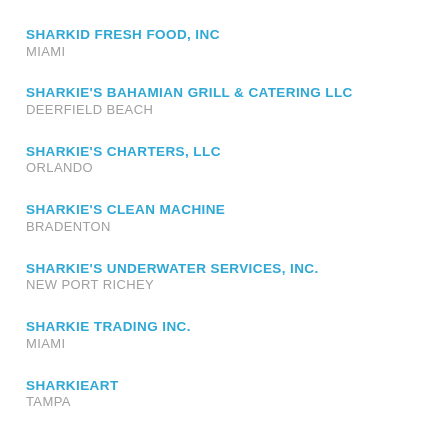SHARKID FRESH FOOD, INC
MIAMI
SHARKIE'S BAHAMIAN GRILL & CATERING LLC
DEERFIELD BEACH
SHARKIE'S CHARTERS, LLC
ORLANDO
SHARKIE'S CLEAN MACHINE
BRADENTON
SHARKIE'S UNDERWATER SERVICES, INC.
NEW PORT RICHEY
SHARKIE TRADING INC.
MIAMI
SHARKIEART
TAMPA